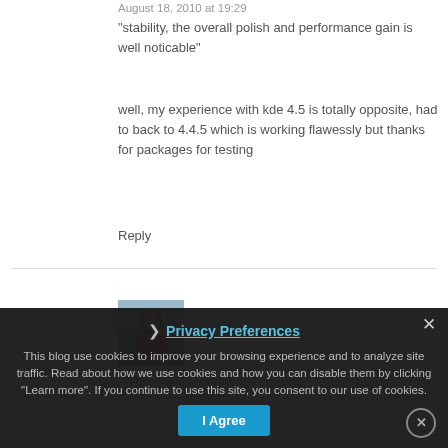August 18, 2010 at 19:29
“stability, the overall polish and performance gain is well noticable”
well, my experience with kde 4.5 is totally opposite, had to back to 4.4.5 which is working flawessly but thanks for packages for testing
Reply
[Figure (photo): Avatar photo of Willy Sudiarto Raharjo showing a person in a red jacket]
Willy Sudiarto Raharjo
August 19, 2010 at 00:37
@NjB:
yes, it's that easy 🙂
This blog use cookies to improve your browsing experience and to analyze site traffic. Read about how we use cookies and how you can disable them by clicking "Learn more". If you continue to use this site, you consent to our use of cookies.
Privacy Preferences
I Agree